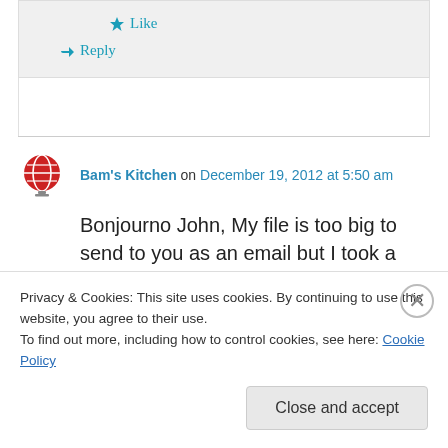★ Like
↪ Reply
Bam's Kitchen on December 19, 2012 at 5:50 am
Bonjourno John, My file is too big to send to you as an email but I took a video of a guy here at
Privacy & Cookies: This site uses cookies. By continuing to use this website, you agree to their use.
To find out more, including how to control cookies, see here: Cookie Policy
Close and accept